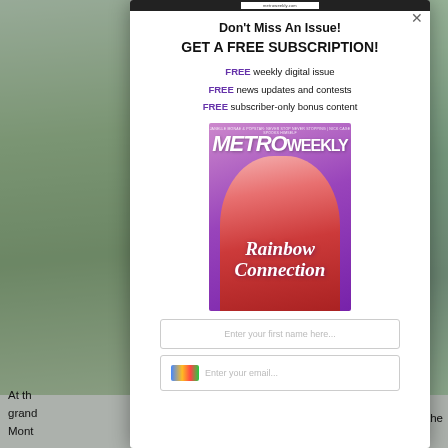[Figure (photo): Background photo of outdoor event/crowd on left side, partially obscured by modal overlay]
[Figure (photo): Background photo of outdoor event/crowd on right side, partially obscured by modal overlay]
Don't Miss An Issue!
GET A FREE SUBSCRIPTION!
FREE weekly digital issue
FREE news updates and contests
FREE subscriber-only bonus content
[Figure (photo): Metro Weekly magazine cover featuring a man in a pink sequined tuxedo jacket holding glasses, with text 'Rainbow Connection' overlaid. Header reads MetroWeekly.]
Enter your first name here...
At the grand Mont
, the
And t
sumt
the e
-- pa
land
of
-- in
rate
of